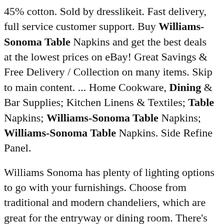45% cotton. Sold by dresslikeit. Fast delivery, full service customer support. Buy Williams-Sonoma Table Napkins and get the best deals at the lowest prices on eBay! Great Savings & Free Delivery / Collection on many items. Skip to main content. ... Home Cookware, Dining & Bar Supplies; Kitchen Linens & Textiles; Table Napkins; Williams-Sonoma Table Napkins; Williams-Sonoma Table Napkins. Side Refine Panel.
Williams Sonoma has plenty of lighting options to go with your furnishings. Choose from traditional and modern chandeliers, which are great for the entryway or dining room. There's also a wide selection of table and desk lamps for the living room and home office..
Featuring a solid wood, A -frame base, our Jensen Dining Table borrows its retro design from classic, mid-century forms. Its clear glass top gives it a light look that pairs well with modern and classic home...